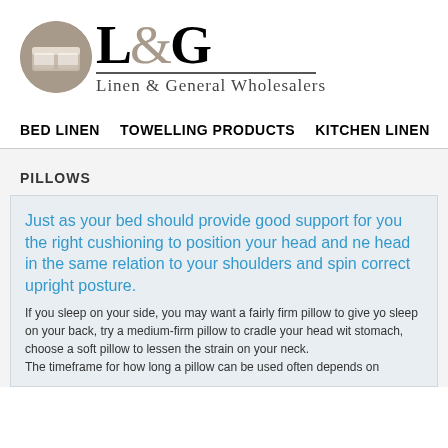[Figure (logo): L&G Linen & General Wholesalers logo with circular icon and serif text]
BED LINEN   TOWELLING PRODUCTS   KITCHEN LINEN   D
PILLOWS
Just as your bed should provide good support for you the right cushioning to position your head and ne head in the same relation to your shoulders and spin correct upright posture.
If you sleep on your side, you may want a fairly firm pillow to give yo sleep on your back, try a medium-firm pillow to cradle your head wit stomach, choose a soft pillow to lessen the strain on your neck. The timeframe for how long a pillow can be used often depends on